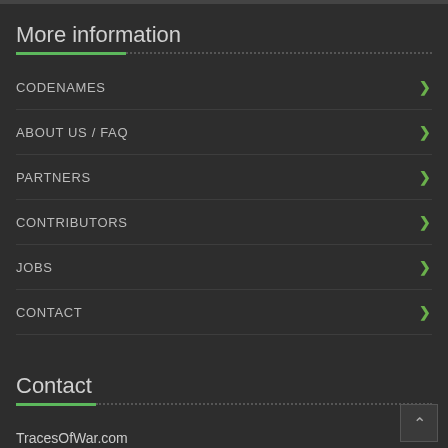More information
CODENAMES
ABOUT US / FAQ
PARTNERS
CONTRIBUTORS
JOBS
CONTACT
Contact
TracesOfWar.com
Postbus 44